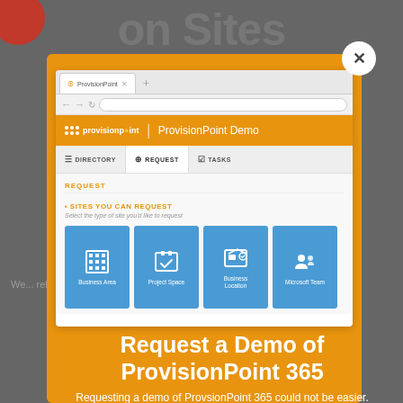[Figure (screenshot): Screenshot of a ProvisionPoint 365 demo modal overlay showing a browser window with the ProvisionPoint application, displaying the REQUEST tab with four site type cards: Business Area, Project Space, Business Location, and Microsoft Team. The modal has an orange background with a white close button, and shows the title 'Request a Demo of ProvisionPoint 365' and subtitle text below.]
Request a Demo of ProvisionPoint 365
Requesting a demo of ProvsionPoint 365 could not be easier.